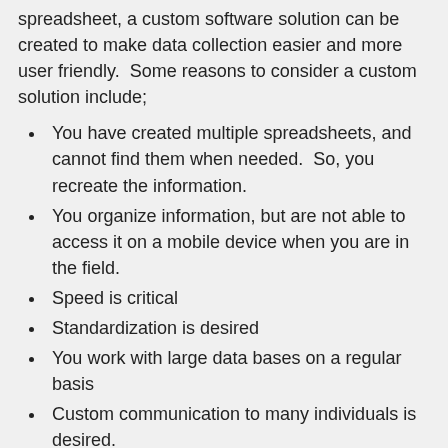spreadsheet, a custom software solution can be created to make data collection easier and more user friendly.  Some reasons to consider a custom solution include;
You have created multiple spreadsheets, and cannot find them when needed.  So, you recreate the information.
You organize information, but are not able to access it on a mobile device when you are in the field.
Speed is critical
Standardization is desired
You work with large data bases on a regular basis
Custom communication to many individuals is desired.